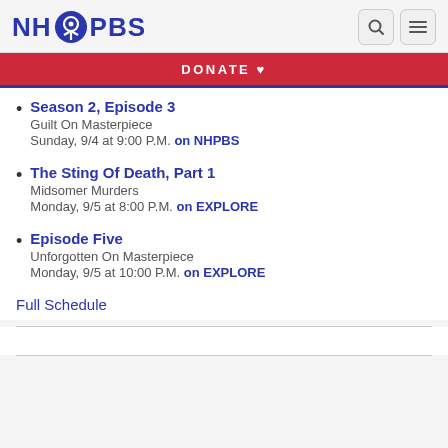NH PBS — DONATE
Season 2, Episode 3 | Guilt On Masterpiece | Sunday, 9/4 at 9:00 P.M. on NHPBS
The Sting Of Death, Part 1 | Midsomer Murders | Monday, 9/5 at 8:00 P.M. on EXPLORE
Episode Five | Unforgotten On Masterpiece | Monday, 9/5 at 10:00 P.M. on EXPLORE
Full Schedule